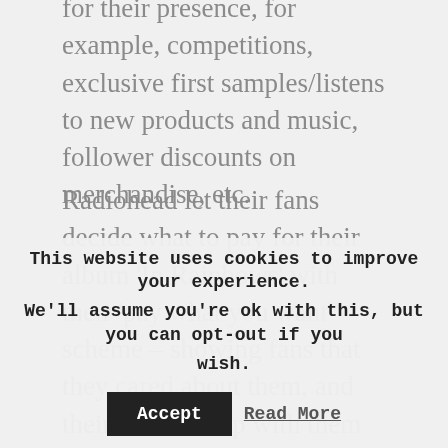for their presence, for example, competitions, exclusive first samples/listens to new products and music, follower discounts on merchandise, etc.
Radiohead let their fans decide what to pay for their album 'In Rainbows' with their 'pay what you want' scheme – showing fans that they cared about them, and their relationship with them wasn't just about the money.
Work out what is most appropriate for your business and the stage that you are at – for example if you want to increase your email
This website uses cookies to improve your experience. We'll assume you're ok with this, but you can opt-out if you wish. Accept Read More